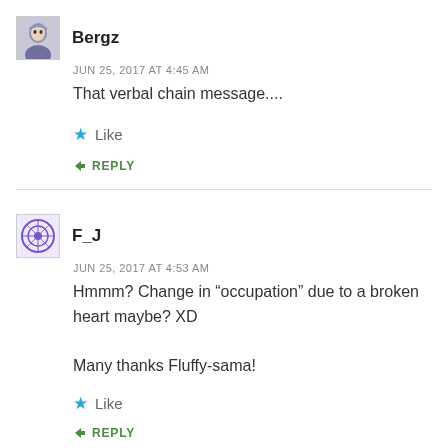Bergz
JUN 25, 2017 AT 4:45 AM
That verbal chain message....
Like
REPLY
F_J
JUN 25, 2017 AT 4:53 AM
Hmmm? Change in “occupation” due to a broken heart maybe? XD

Many thanks Fluffy-sama!
Like
REPLY